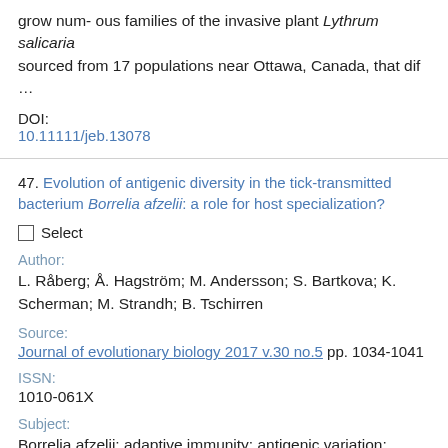grow num- ous families of the invasive plant Lythrum salicaria sourced from 17 populations near Ottawa, Canada, that dif …
DOI:
10.11111/jeb.13078
47. Evolution of antigenic diversity in the tick-transmitted bacterium Borrelia afzelii: a role for host specialization?
Select
Author:
L. Råberg; Å. Hagström; M. Andersson; S. Bartkova; K. Scherman; M. Strandh; B. Tschirren
Source:
Journal of evolutionary biology 2017 v.30 no.5 pp. 1034-1041
ISSN:
1010-061X
Subject:
Borrelia afzelii; adaptive immunity; antigenic variation; bacteria; coevolution; correlation; hosts; quantitative